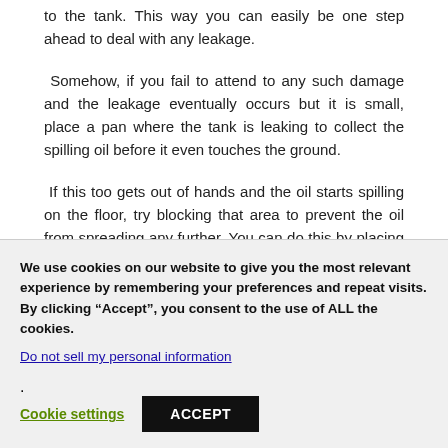to the tank. This way you can easily be one step ahead to deal with any leakage.
Somehow, if you fail to attend to any such damage and the leakage eventually occurs but it is small, place a pan where the tank is leaking to collect the spilling oil before it even touches the ground.
If this too gets out of hands and the oil starts spilling on the floor, try blocking that area to prevent the oil from spreading any further. You can do this by placing small dams as barriers and if that does not work then try using absorbents like cat litter, or sand.
We use cookies on our website to give you the most relevant experience by remembering your preferences and repeat visits. By clicking “Accept”, you consent to the use of ALL the cookies.
Do not sell my personal information.
Cookie settings
ACCEPT